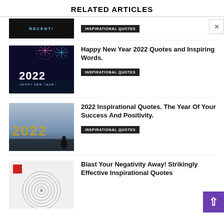RELATED ARTICLES
[Figure (photo): Partial article thumbnail showing dark background with 'RECENT' text; INSPIRATIONAL QUOTES tag visible]
[Figure (photo): 2022 fireworks night sky image with pink/blue fireworks]
Happy New Year 2022 Quotes and Inspiring Words.
INSPIRATIONAL QUOTES
[Figure (photo): 2022 dark moody image with gold 2022 text and silhouette figure]
2022 Inspirational Quotes. The Year Of Your Success And Positivity.
INSPIRATIONAL QUOTES
[Figure (photo): Fingerprint illustration on light background with red square element]
Blast Your Negativity Away! Strikingly Effective Inspirational Quotes